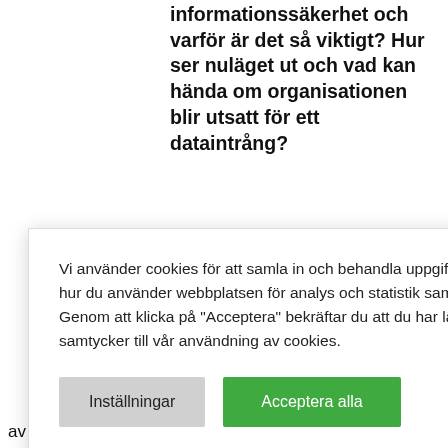informationssäkerhet och varför är det så viktigt? Hur ser nuläget ut och vad kan hända om organisationen blir utsatt för ett dataintrång?
[Figure (screenshot): Cookie consent overlay on top of a webpage screenshot showing a Microsoft Office/Outlook interface]
Vi använder cookies för att samla in och behandla uppgifter som din IP-adress och information om hur du använder webbplatsen för analys och statistik samt för att ge dig en bättre upplevelse. Genom att klicka på "Acceptera" bekräftar du att du har läst vår integritetsskyddspolicy och att du samtycker till vår användning av cookies.
upp ett av de största hoten, nämligen